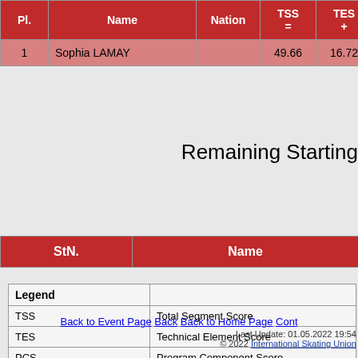| Pl. | Name | Nation | TSS = | TES + | PC |
| --- | --- | --- | --- | --- | --- |
| 1 | Sophia LAMAY |  | 49.66 | 16.72 | 3 |
Remaining Starting
| StN. | Name |
| --- | --- |
| Legend |  |
| --- | --- |
| TSS | Total Segment Score |
| TES | Technical Element Score |
| PCS | Program Component Score |
| SS | Skating Skills |
| TR | Transitions |
| PE | Performance |
| CO | Composition |
| IN | Interpretation of the Music |
Back to Event Page   Back   Back to Home Page   Cont...
Last Update: 01.05.2022 19:54
© 2022 International Skating Union...